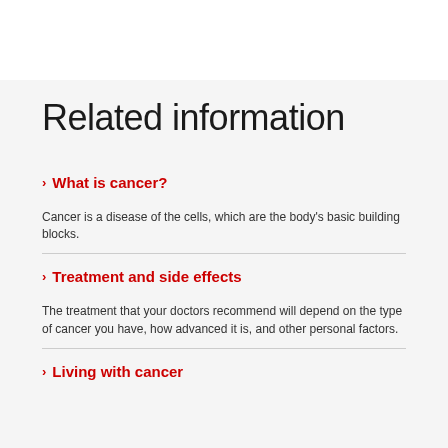Related information
What is cancer?
Cancer is a disease of the cells, which are the body's basic building blocks.
Treatment and side effects
The treatment that your doctors recommend will depend on the type of cancer you have, how advanced it is, and other personal factors.
Living with cancer